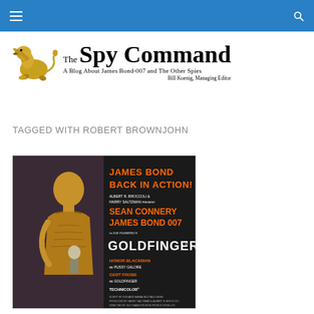The Spy Command — navigation bar
[Figure (logo): The Spy Command logo with golden griffin and text 'The Spy Command — A Blog About James Bond-007 and The Other Spies, Bill Koenig, Managing Editor']
TAGGED WITH ROBERT BROWNJOHN
[Figure (photo): Goldfinger (1964) movie poster featuring gold-painted woman, Sean Connery as James Bond 007, with text: JAMES BOND BACK IN ACTION! ALBERT R. BROCCOLI & HARRY SALTZMAN PRESENT SEAN CONNERY AS JAMES BOND 007 in IAN FLEMING'S GOLDFINGER. HONOR BLACKMAN as PUSSY GALORE, GERT FROBE as GOLDFINGER, TECHNICOLOR.]